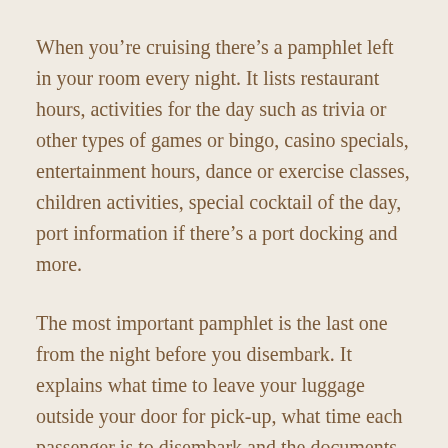When you're cruising there's a pamphlet left in your room every night. It lists restaurant hours, activities for the day such as trivia or other types of games or bingo, casino specials, entertainment hours, dance or exercise classes, children activities, special cocktail of the day, port information if there's a port docking and more.
The most important pamphlet is the last one from the night before you disembark. It explains what time to leave your luggage outside your door for pick-up, what time each passenger is to disembark and the documents required to leave the ship.